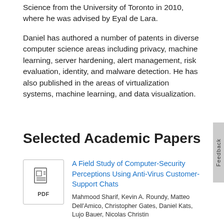Science from the University of Toronto in 2010, where he was advised by Eyal de Lara.
Daniel has authored a number of patents in diverse computer science areas including privacy, machine learning, server hardening, alert management, risk evaluation, identity, and malware detection. He has also published in the areas of virtualization systems, machine learning, and data visualization.
Selected Academic Papers
[Figure (other): PDF document icon]
A Field Study of Computer-Security Perceptions Using Anti-Virus Customer-Support Chats
Mahmood Sharif, Kevin A. Roundy, Matteo Dell'Amico, Christopher Gates, Daniel Kats, Lujo Bauer, Nicolas Christin
In Proceedings of the 2019 Conference on Human Factors in Computing Systems (CHI 2019)
To identify and define user experience...